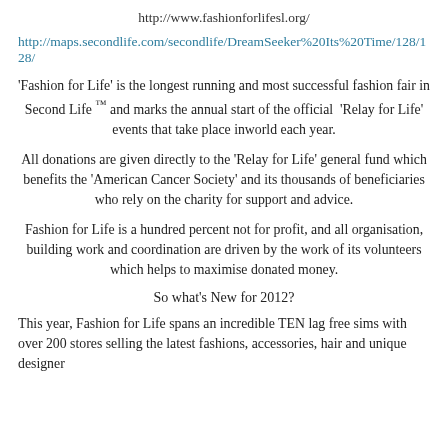http://www.fashionforlifesl.org/
http://maps.secondlife.com/secondlife/DreamSeeker%20Its%20Time/128/128/
'Fashion for Life' is the longest running and most successful fashion fair in Second Life ™ and marks the annual start of the official 'Relay for Life' events that take place inworld each year.
All donations are given directly to the 'Relay for Life' general fund which benefits the 'American Cancer Society' and its thousands of beneficiaries who rely on the charity for support and advice.
Fashion for Life is a hundred percent not for profit, and all organisation, building work and coordination are driven by the work of its volunteers which helps to maximise donated money.
So what's New for 2012?
This year, Fashion for Life spans an incredible TEN lag free sims with over 200 stores selling the latest fashions, accessories, hair and unique designer